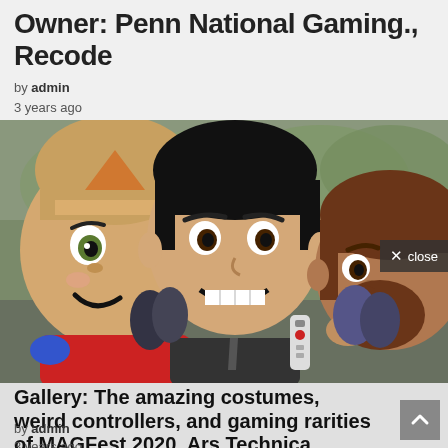Owner: Penn National Gaming., Recode
by admin
3 years ago
[Figure (photo): Three people in large Mii character costumes from Nintendo Wii, photographed at MAGFest 2020 outdoors. The costumes have oversized round heads with cartoon faces.]
Gallery: The amazing costumes, weird controllers, and gaming rarities of MAGFest 2020, Ars Technica
by admin
3 years ago